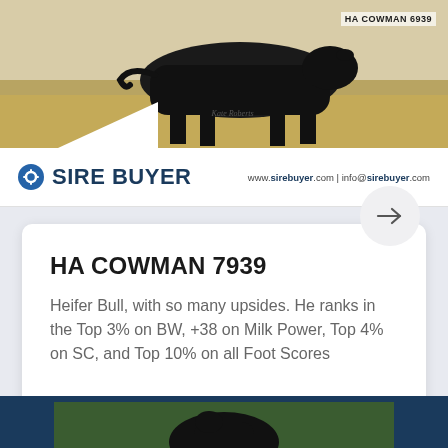[Figure (photo): Black bull standing on hay/grass, labeled HA COWMAN 6939 in top right corner, with photographer credit]
SIRE BUYER — www.sirebuyer.com | info@sirebuyer.com
HA COWMAN 7939
Heifer Bull, with so many upsides. He ranks in the Top 3% on BW, +38 on Milk Power, Top 4% on SC, and Top 10% on all Foot Scores
[Figure (photo): Bottom partial photo showing cattle/bull in green foliage, partially visible]